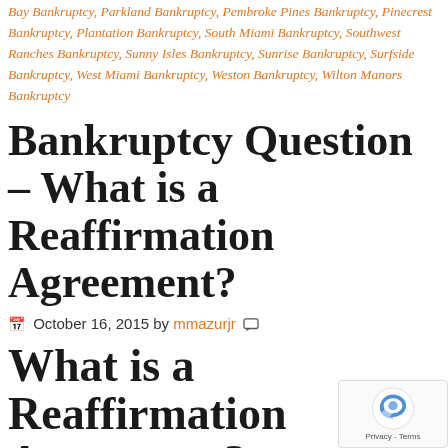Bay Bankruptcy, Parkland Bankruptcy, Pembroke Pines Bankruptcy, Pinecrest Bankruptcy, Plantation Bankruptcy, South Miami Bankruptcy, Southwest Ranches Bankruptcy, Sunny Isles Bankruptcy, Sunrise Bankruptcy, Surfside Bankruptcy, West Miami Bankruptcy, Weston Bankruptcy, Wilton Manors Bankruptcy
Bankruptcy Question – What is a Reaffirmation Agreement?
October 16, 2015 by mmazurjr
What is a Reaffirmation Agreement?